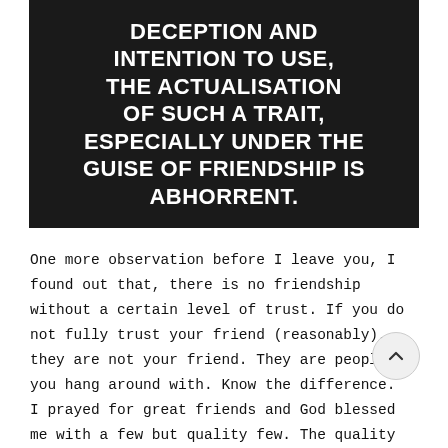[Figure (illustration): Black background image with bold white uppercase text reading: DECEPTION AND INTENTION TO USE, THE ACTUALISATION OF SUCH A TRAIT, ESPECIALLY UNDER THE GUISE OF FRIENDSHIP IS ABHORRENT.]
One more observation before I leave you, I found out that, there is no friendship without a certain level of trust. If you do not fully trust your friend (reasonably), they are not your friend. They are people you hang around with. Know the difference.
I prayed for great friends and God blessed me with a few but quality few. The quality still shocks me.
I pray you find amazing friends who will make your life